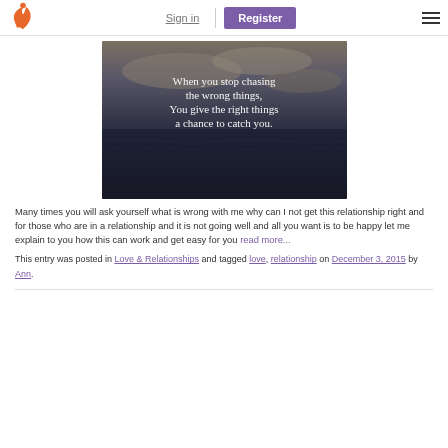Sign in | Register
[Figure (photo): Inspirational quote over ocean/water background: 'When you stop chasing the wrong things, You give the right things a chance to catch you.']
Many times you will ask yourself what is wrong with me why can I not get this relationship right and for those who are in a relationship and it is not going well and all you want is to be happy let me explain to you how this can work and get easy for you read more...
This entry was posted in Love & Relationships and tagged love, relationship on December 3, 2015 by Ann.